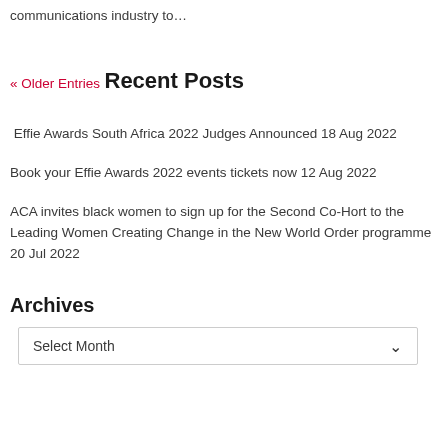communications industry to…
« Older Entries
Recent Posts
Effie Awards South Africa 2022 Judges Announced 18 Aug 2022
Book your Effie Awards 2022 events tickets now 12 Aug 2022
ACA invites black women to sign up for the Second Co-Hort to the Leading Women Creating Change in the New World Order programme 20 Jul 2022
Archives
Select Month